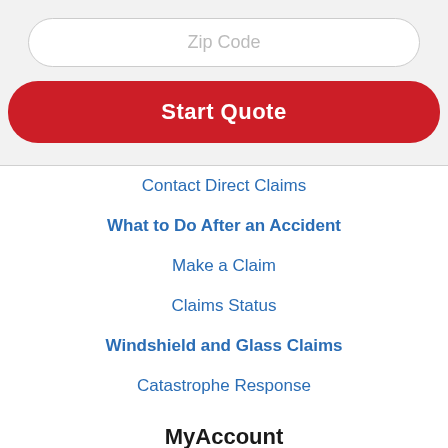Zip Code
Start Quote
Contact Direct Claims
What to Do After an Accident
Make a Claim
Claims Status
Windshield and Glass Claims
Catastrophe Response
MyAccount
Login
Register